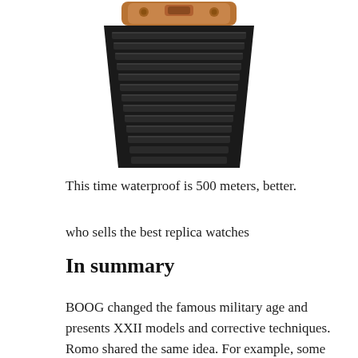[Figure (photo): Close-up photo of a watch with a copper/bronze colored case and black rubber ribbed strap, viewed from above at an angle showing the top of the watch band attachment.]
This time waterproof is 500 meters, better.
who sells the best replica watches
In summary
BOOG changed the famous military age and presents XXII models and corrective techniques. Romo shared the same idea. For example, some recovery services provide water services for the ocean. The ultimate traditions of